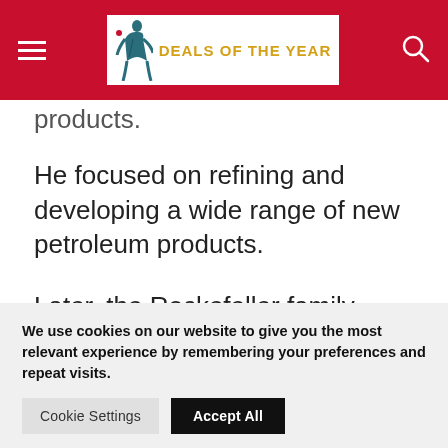DEALS OF THE YEAR
products.
He focused on refining and developing a wide range of new petroleum products.
Later, the Rockefeller family multiplied their riches many times over through their banking association with
We use cookies on our website to give you the most relevant experience by remembering your preferences and repeat visits.